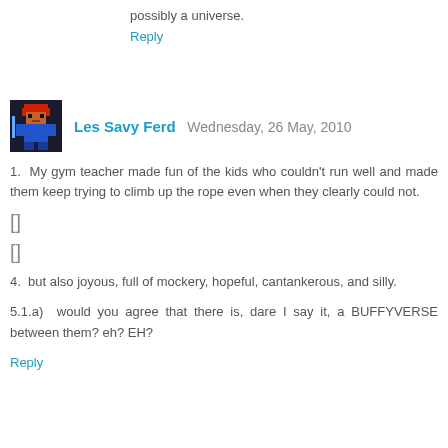possibly a universe.
Reply
[Figure (illustration): Pixel art avatar of a red-haired character in a blue outfit]
Les Savy Ferd  Wednesday, 26 May, 2010
1.  My gym teacher made fun of the kids who couldn't run well and made them keep trying to climb up the rope even when they clearly could not.
[]
[]
4.  but also joyous, full of mockery, hopeful, cantankerous, and silly.
5.1.a)  would you agree that there is, dare I say it, a BUFFYVERSE between them? eh? EH?
Reply